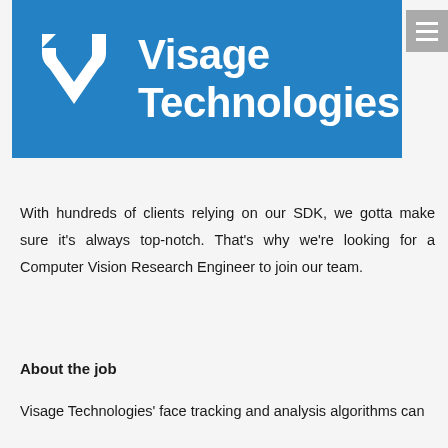[Figure (logo): Visage Technologies logo: blue rectangle with white V-shaped arrow icon and white text 'Visage Technologies']
With hundreds of clients relying on our SDK, we gotta make sure it's always top-notch. That's why we're looking for a Computer Vision Research Engineer to join our team.
About the job
Visage Technologies' face tracking and analysis algorithms can